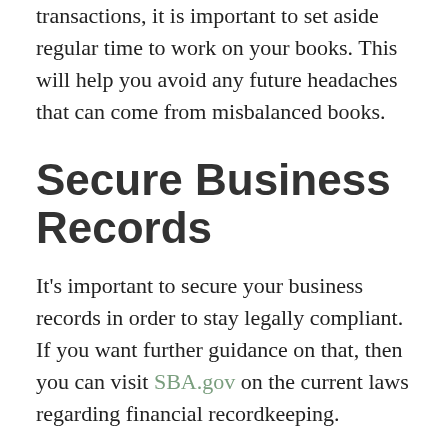transactions, it is important to set aside regular time to work on your books. This will help you avoid any future headaches that can come from misbalanced books.
Secure Business Records
It's important to secure your business records in order to stay legally compliant. If you want further guidance on that, then you can visit SBA.gov on the current laws regarding financial recordkeeping.
Get Professional Bookkeeping Assistance
Simply add business…